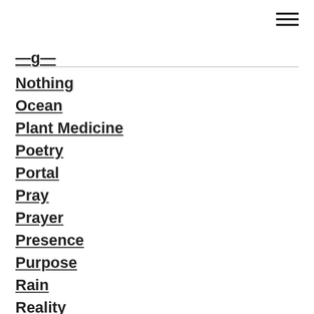Nothing
Ocean
Plant Medicine
Poetry
Portal
Pray
Prayer
Presence
Purpose
Rain
Reality
Rebirth
Remember
River
Rocks
Rose